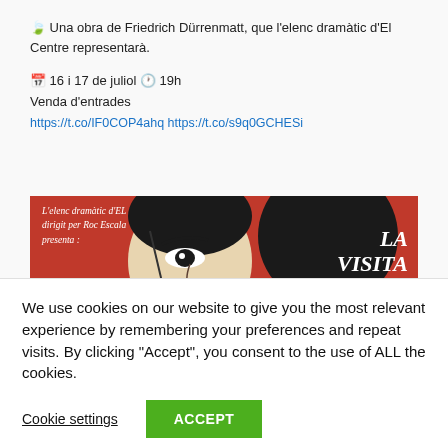Una obra de Friedrich Dürrenmatt, que l'elenc dramàtic d'El Centre representarà.
16 i 17 de juliol  19h
Venda d'entrades
https://t.co/IF0COP4ahq https://t.co/s9q0GCHESi
[Figure (photo): Theater poster for 'La Visita de la Vella Dama' by the dramatic ensemble of El Centre, directed by Roc Escala. Red background with a black and white stylized face illustration and white italic text.]
We use cookies on our website to give you the most relevant experience by remembering your preferences and repeat visits. By clicking "Accept", you consent to the use of ALL the cookies.
Cookie settings    ACCEPT